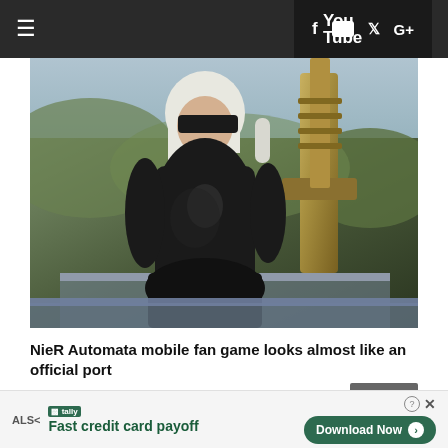≡  f  You Tube  𝕏  G+
[Figure (photo): Screenshot from NieR Automata showing the character 2B in black leather outfit with large sword, set against a green background]
NieR Automata mobile fan game looks almost like an official port
Close X
tally  Fast credit card payoff  Download Now →